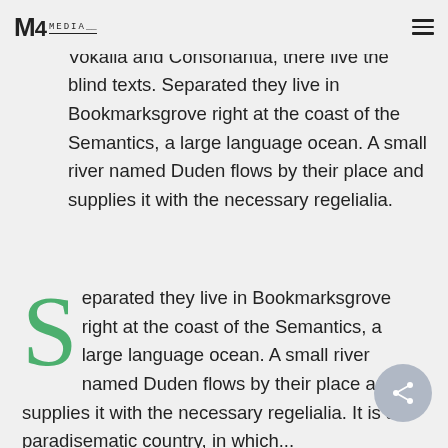M4 MEDIA
the word mountains, far from the countries Vokalia and Consonantia, there live the blind texts. Separated they live in Bookmarksgrove right at the coast of the Semantics, a large language ocean. A small river named Duden flows by their place and supplies it with the necessary regelialia.
Separated they live in Bookmarksgrove right at the coast of the Semantics, a large language ocean. A small river named Duden flows by their place and supplies it with the necessary regelialia. It is a paradisematic country, in which...